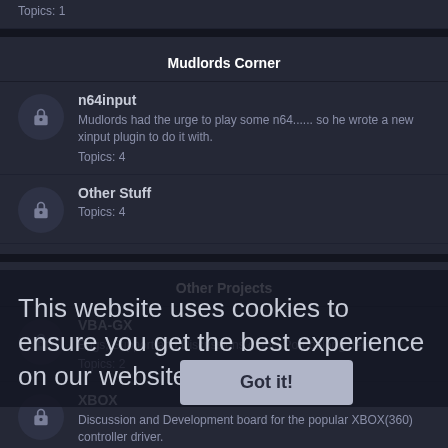Topics: 1
Mudlords Corner
n64input — Mudlords had the urge to play some n64...... so he wrote a new xinput plugin to do it with. Topics: 4
Other Stuff — Topics: 4
Other Projects
VBA-GX — Bugs, Support and Discussions of this Port belong here. Topics: 2
XBOX — Discussion and Development board for the popular XBOX(360) controller driver. Subforum: Controller not supported? Request it here. Topics: 48
NRage Input Plugin v2.0 — The Best N64 Emulation Plugin has been revived. Nrage v2.0 fixes an
This website uses cookies to ensure you get the best experience on our website. Learn more
Got it!